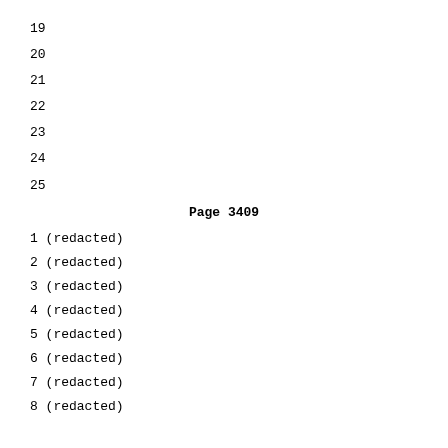19
20
21
22
23
24
25
Page  3409
1 (redacted)
2 (redacted)
3 (redacted)
4 (redacted)
5 (redacted)
6 (redacted)
7 (redacted)
8 (redacted)